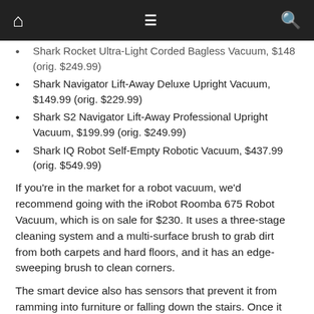Navigation bar with home, menu, and search icons
Shark Rocket Ultra-Light Corded Bagless Vacuum, $148 (orig. $249.99)
Shark Navigator Lift-Away Deluxe Upright Vacuum, $149.99 (orig. $229.99)
Shark S2 Navigator Lift-Away Professional Upright Vacuum, $199.99 (orig. $249.99)
Shark IQ Robot Self-Empty Robotic Vacuum, $437.99 (orig. $549.99)
If you're in the market for a robot vacuum, we'd recommend going with the iRobot Roomba 675 Robot Vacuum, which is on sale for $230. It uses a three-stage cleaning system and a multi-surface brush to grab dirt from both carpets and hard floors, and it has an edge-sweeping brush to clean corners.
The smart device also has sensors that prevent it from ramming into furniture or falling down the stairs. Once it gets familiar with your home and your cleaning patterns, the vacuum will create a schedule and visit high-traffic areas more frequently.